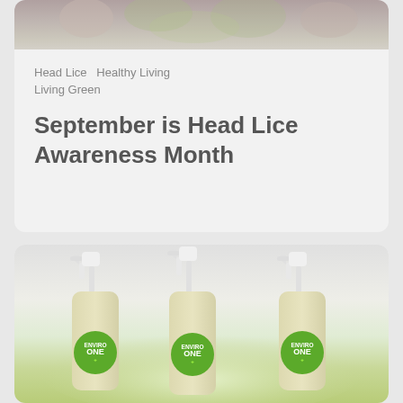[Figure (photo): Top portion of a card showing a blurred image of what appears to be lice-related or nature content at the very top of the page]
Head Lice   Healthy Living
Living Green
September is Head Lice Awareness Month
[Figure (photo): Three Enviro One spray bottles with green labels arranged side by side against a light green background]